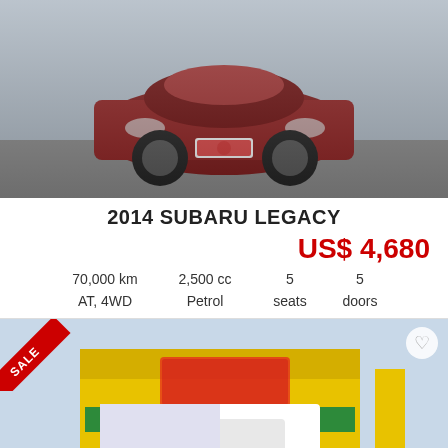[Figure (photo): Photo of a dark red 2014 Subaru Legacy sedan, front view]
2014 SUBARU LEGACY
US$ 4,680
70,000 km
AT, 4WD
2,500 cc
Petrol
5 seats
5 doors
[Figure (photo): Photo of a white 2012 Subaru Sambar Truck TB parked in front of a Japanese auto dealership with yellow signage]
2012 SUBARU SAMBAR TRUCK TB
US$ 4,680  -$70